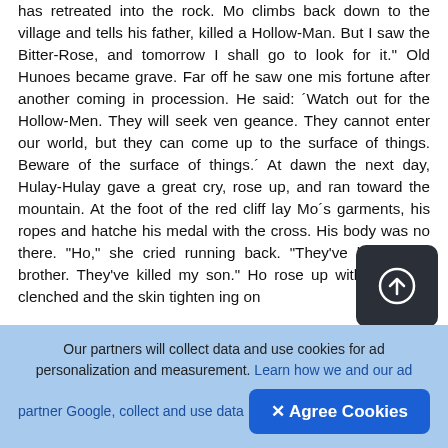has retreated into the rock. Mo climbs back down to the village and tells his father, killed a Hollow-Man. But I saw the Bitter-Rose, and tomorrow I shall go to look for it.'' Old Hunoes became grave. Far off he saw one mis fortune after another coming in procession. He said: ´Watch out for the Hollow-Men. They will seek ven geance. They cannot enter our world, but they can come up to the surface of things. Beware of the surface of things.´ At dawn the next day, Hulay-Hulay gave a great cry, rose up, and ran toward the mountain. At the foot of the red cliff lay Mo´s garments, his ropes and hatche his medal with the cross. His body was no there. "Ho," she cried running back. "They've killed your brother. They've killed my son." Ho rose up with his teeth clenched and the skin tighten ing on
[Figure (other): Upload/share button — dark rounded square with a circle-arrow (upload) icon in white]
Our partners will collect data and use cookies for ad personalization and measurement. Learn how we and our ad partner Google, collect and use data
✕ Agree Cookies